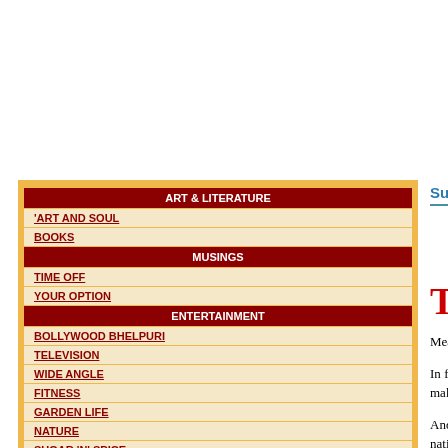Sunday, March 18, 2001
The fa
By Manob
ART & LITERATURE
'ART AND SOUL
BOOKS
MUSINGS
TIME OFF
YOUR OPTION
ENTERTAINMENT
BOLLYWOOD BHELPURI
TELEVISION
WIDE ANGLE
FITNESS
GARDEN LIFE
NATURE
SUGAR 'N' SPICE
CONSUMER ALERT
TRAVEL
INTERACTIVE FEATURES
CAPTION CONTEST
FEEDBACK
THE periodic international conferences on the th... of hot words, dire predictions, elaborate scientific...
Meanwhile, global warming goes on, and nothi... coastal Bangladesh, for instance from being swep...
In fact, it might be already too late to save some... the pace a bit, but that will need a determined e... They will have to make drastic reductions in t... programmes for massive reforestation of waste la...
And, of course, save such forests as are already th... and plant trees. A peculiar aspect of these confe... order of the nations of the world no longer holds... guilty parties and ‘developing’ countries the... customary role of headmaster, but finds himself... responsible for the alarming acceleration in the n...